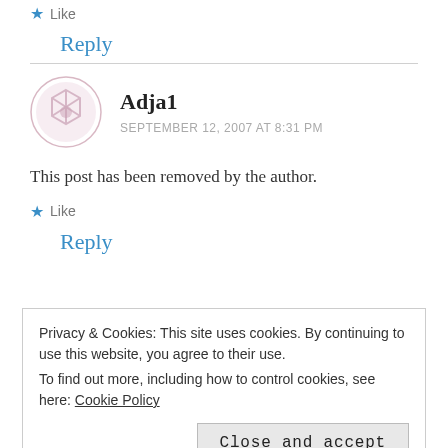★ Like
Reply
Adja1
SEPTEMBER 12, 2007 AT 8:31 PM
This post has been removed by the author.
★ Like
Reply
Privacy & Cookies: This site uses cookies. By continuing to use this website, you agree to their use.
To find out more, including how to control cookies, see here: Cookie Policy
Close and accept